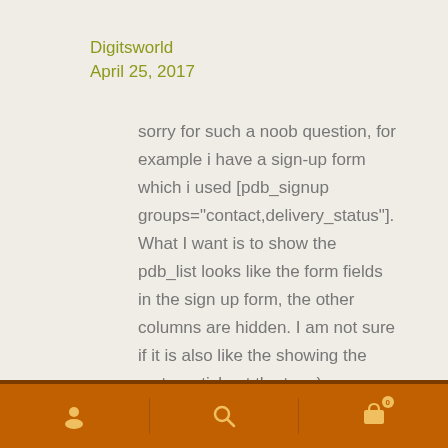Digitsworld
April 25, 2017
sorry for such a noob question, for example i have a sign-up form which i used [pdb_signup groups="contact,delivery_status"]. What I want is to show the pdb_list looks like the form fields in the sign up form, the other columns are hidden. I am not sure if it is also like the showing the roster article at the top :)
Reply
Navigation footer with user, search, and cart icons